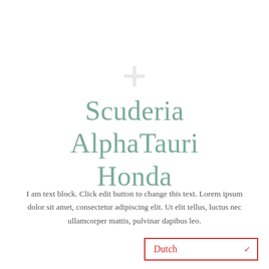[Figure (logo): Small faint plus/cross logo mark watermark centered near top]
Scuderia AlphaTauri Honda
I am text block. Click edit button to change this text. Lorem ipsum dolor sit amet, consectetur adipiscing elit. Ut elit tellus, luctus nec ullamcorper mattis, pulvinar dapibus leo.
Dutch